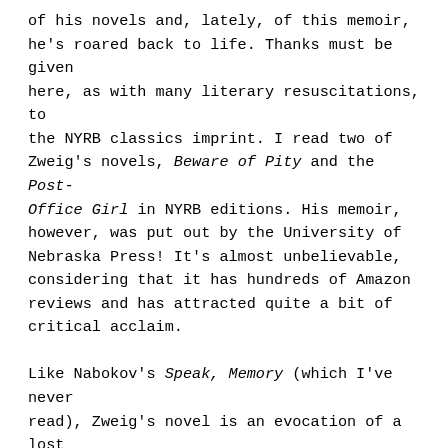of his novels and, lately, of this memoir, he's roared back to life. Thanks must be given here, as with many literary resuscitations, to the NYRB classics imprint. I read two of Zweig's novels, Beware of Pity and the Post-Office Girl in NYRB editions. His memoir, however, was put out by the University of Nebraska Press! It's almost unbelievable, considering that it has hundreds of Amazon reviews and has attracted quite a bit of critical acclaim.

Like Nabokov's Speak, Memory (which I've never read), Zweig's novel is an evocation of a lost world: the Vienna of the final years of the Austro-Hungarian Empire. This was a particularly fertile period for fiction. Robert Musil's Man Without Qualities and Joseph Roth's Radetzky March were also written